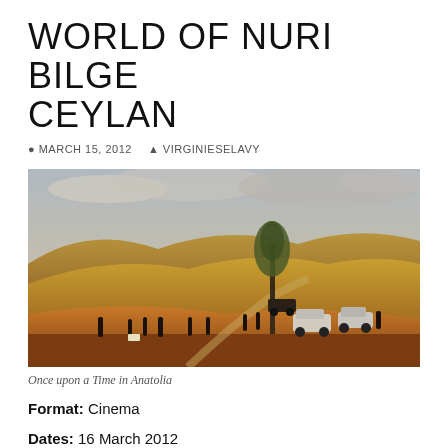WORLD OF NURI BILGE CEYLAN
MARCH 15, 2012   VIRGINIESELAVY
[Figure (photo): Landscape photograph showing rolling hills with golden-brown terrain, a solitary tree, several people standing around, and cars parked on a dirt road under a cloudy sky. Scene from the film 'Once upon a Time in Anatolia'.]
Once upon a Time in Anatolia
Format: Cinema
Dates: 16 March 2012